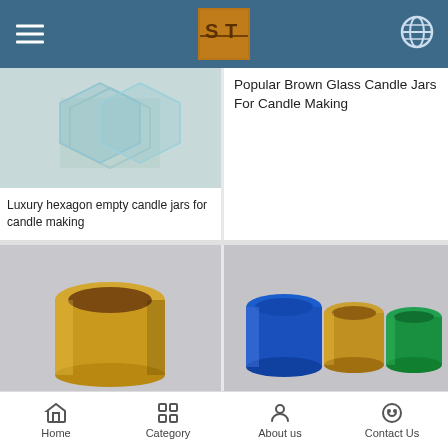ST logo navigation header with hamburger menu and globe icon
[Figure (photo): Turquoise/blue luxury hexagon empty candle jars on grey background, partially visible at top]
Luxury hexagon empty candle jars for candle making
Popular Brown Glass Candle Jars For Candle Making
[Figure (photo): Gold metallic cylindrical glass candle jar on grey background]
Popular Gold Glass Candle Jar Wholesale
[Figure (photo): Three metallic color glass candle jars in blue, gold, and green on grey background]
Luxury Metallic Color Glass Candle Jars
[Figure (photo): Partially visible product image at bottom of page]
Home | Category | About us | Contact Us